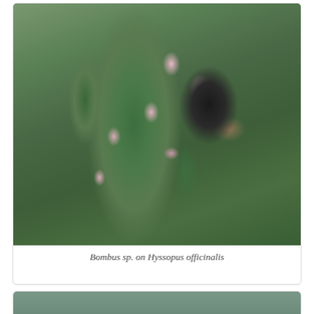[Figure (photo): Close-up photograph of a bumblebee (Bombus sp.) feeding on pink flowers of Hyssopus officinalis (hyssop). The bee is dark-bodied with yellow banding, clinging to the flower spike. Background shows green foliage.]
Bombus sp. on Hyssopus officinalis
[Figure (photo): Close-up photograph of small white star-shaped flowers with pale green leaves/foliage in the background, partially visible at bottom of page.]